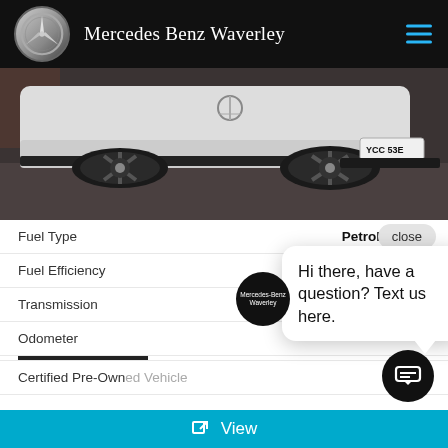Mercedes Benz Waverley
[Figure (photo): Close-up photo of a white Mercedes-Benz vehicle showing the lower body, black alloy wheels, and license plate YCC 53E]
|  |  |
| --- | --- |
| Fuel Type | Petrol |
| Fuel Efficiency | 16.5L / 100km |
| Transmission |  |
| Odometer |  |
Certified Pre-Owned Vehicle
$42,800 Drive Away
Hi there, have a question? Text us here.
View